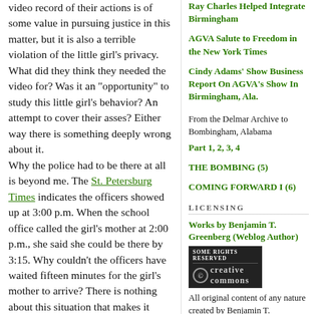video record of their actions is of some value in pursuing justice in this matter, but it is also a terrible violation of the little girl's privacy. What did they think they needed the video for? Was it an "opportunity" to study this little girl's behavior? An attempt to cover their asses? Either way there is something deeply wrong about it.
Why the police had to be there at all is beyond me. The St. Petersburg Times indicates the officers showed up at 3:00 p.m. When the school office called the girl's mother at 2:00 p.m., she said she could be there by 3:15. Why couldn't the officers have waited fifteen minutes for the girl's mother to arrive? There is nothing about this situation that makes it appropriate for white police officers to terrorize a Black five-year-old girl.
Ray Charles Helped Integrate Birmingham
AGVA Salute to Freedom in the New York Times
Cindy Adams' Show Business Report On AGVA's Show In Birmingham, Ala.
From the Delmar Archive to Bombingham, Alabama
Part 1, 2, 3, 4
THE BOMBING (5)
COMING FORWARD I (6)
LICENSING
Works by Benjamin T. Greenberg (Weblog Author)
[Figure (logo): Creative Commons 'Some Rights Reserved' badge/logo]
All original content of any nature created by Benjamin T. Greenberg and included in this weblog and any related pages, including the weblog's archives, is licensed under a Creative Commons License.
Works by Paul A. Greenberg